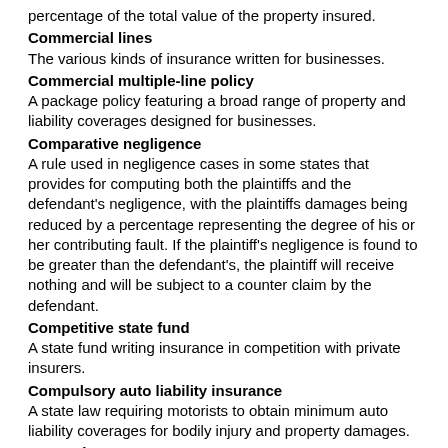percentage of the total value of the property insured.
Commercial lines
The various kinds of insurance written for businesses.
Commercial multiple-line policy
A package policy featuring a broad range of property and liability coverages designed for businesses.
Comparative negligence
A rule used in negligence cases in some states that provides for computing both the plaintiffs and the defendant's negligence, with the plaintiffs damages being reduced by a percentage representing the degree of his or her contributing fault. If the plaintiff's negligence is found to be greater than the defendant's, the plaintiff will receive nothing and will be subject to a counter claim by the defendant.
Competitive state fund
A state fund writing insurance in competition with private insurers.
Compulsory auto liability insurance
A state law requiring motorists to obtain minimum auto liability coverages for bodily injury and property damages.
Concealment
The withholding of material facts regarding the nature of an insurance risk or loss. Withholding essential information from the insurer in negotiating an insurance contract or in making a claim.